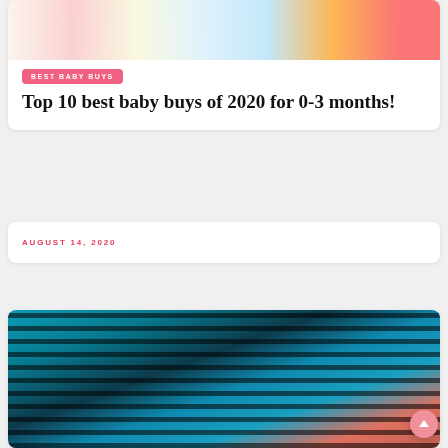[Figure (photo): Colorful baby items and toys on a patterned background]
BEST BABY BUYS
Top 10 best baby buys of 2020 for 0-3 months!
AUGUST 14, 2020
[Figure (photo): Close-up of a baby wearing a teal and black striped outfit, with skin visible at bottom]